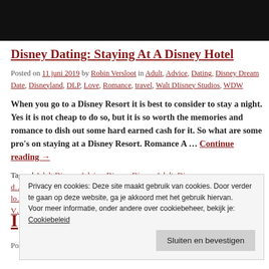[Figure (photo): Black banner/header image at the top of the page]
Disney Dating: Staying At A Disney Hotel
Posted on 11 juni 2019 by Robin Versloot in Adult, Advice, Dating, Disney Dream Date, Disneyland, DLP, Love, Romance, travel, Walt Disney Studios, WDW
When you go to a Disney Resort it is best to consider to stay a night. Yes it is not cheap to do so, but it is so worth the memories and romance to dish out some hard earned cash for it. So what are some pro's on staying at a Disney Resort. Romance A … Continue reading →
Tagged Adult Disney, Advice, Disney, Disney Adult, Disney d… lo… V…
Privacy en cookies: Deze site maakt gebruik van cookies. Door verder te gaan op deze website, ga je akkoord met het gebruik hiervan.
Voor meer informatie, onder andere over cookiebeheer, bekijk je: Cookiebeleid
I…
Posted on 10 juni 201910 juni 2019 by Robin Versloot in Adult,